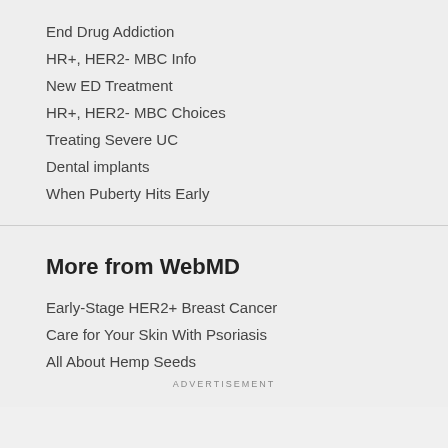End Drug Addiction
HR+, HER2- MBC Info
New ED Treatment
HR+, HER2- MBC Choices
Treating Severe UC
Dental implants
When Puberty Hits Early
More from WebMD
Early-Stage HER2+ Breast Cancer
Care for Your Skin With Psoriasis
All About Hemp Seeds
ADVERTISEMENT